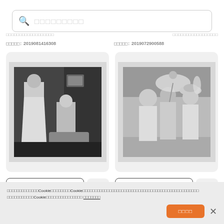[Figure (screenshot): Search bar with magnifying glass icon and placeholder text (Japanese characters)]
（テキスト切れ）
画像ID: 2019081416308
画像ID: 2019072900588
[Figure (photo): Black and white photograph of two women in an indoor setting, one standing and one seated]
[Figure (photo): Black and white photograph of three women outdoors, wearing Edwardian-era hats and dresses, one holding a parasol]
[Figure (screenshot): Shopping cart button and star/favorite button for left photo]
[Figure (screenshot): Shopping cart button and star/favorite button for right photo]
このウェブサイトはCookieを使用しています。Cookieを使用することで、ウェブサイトの閲覧を向上させることができます。詳細については、当社のCookieポリシーをご覧ください。 プライバシーポリシー
同意する